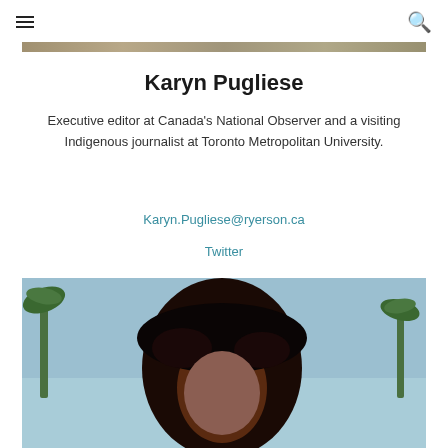≡  🔍
[Figure (photo): Top banner image strip showing outdoor scene]
Karyn Pugliese
Executive editor at Canada's National Observer and a visiting Indigenous journalist at Toronto Metropolitan University.
Karyn.Pugliese@ryerson.ca
Twitter
[Figure (photo): Portrait photo of Karyn Pugliese outdoors with palm trees in background and blue sky]